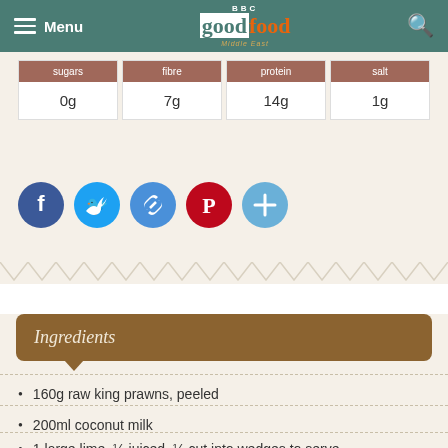Menu | BBC Good Food Middle East
| sugars | fibre | protein | salt |
| --- | --- | --- | --- |
| 0g | 7g | 14g | 1g |
[Figure (infographic): Social sharing buttons: Facebook, Twitter, Link, Pinterest, More]
Ingredients
160g raw king prawns, peeled
200ml coconut milk
1 large lime, ½ juiced, ½ cut into wedges to serve